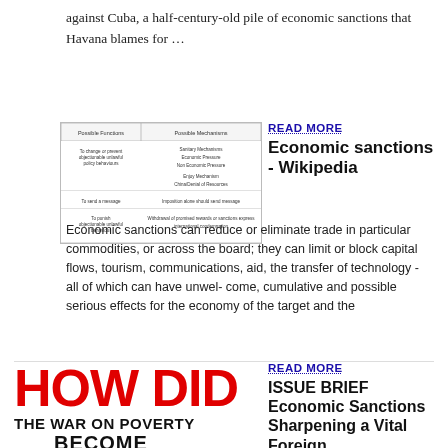against Cuba, a half-century-old pile of economic sanctions that Havana blames for …
[Figure (table-as-image): Table showing Possible Functions and Possible Mechanisms of economic sanctions, with rows for changing state behavior, sending a message, and punishing objectionable behavior.]
READ MORE
Economic sanctions - Wikipedia
Economic sanctions can reduce or eliminate trade in particular commodities, or across the board; they can limit or block capital flows, tourism, communications, aid, the transfer of technology - all of which can have unwel- come, cumulative and possible serious effects for the economy of the target and the
[Figure (illustration): Large bold red text reading HOW DID with black text THE WAR ON POVERTY BECOME below]
READ MORE
ISSUE BRIEF Economic Sanctions Sharpening a Vital Foreign